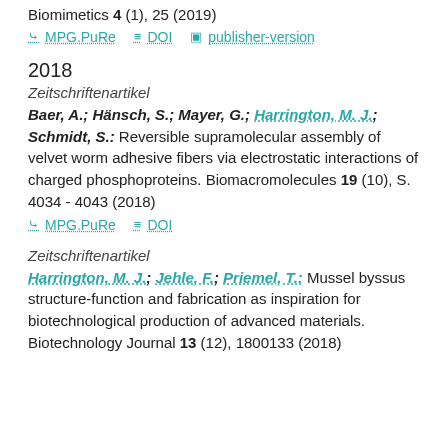Biomimetics 4 (1), 25 (2019)
MPG.PuRe   DOI   publisher-version
2018
Zeitschriftenartikel
Baer, A.; Hänsch, S.; Mayer, G.; Harrington, M. J.; Schmidt, S.: Reversible supramolecular assembly of velvet worm adhesive fibers via electrostatic interactions of charged phosphoproteins. Biomacromolecules 19 (10), S. 4034 - 4043 (2018)
MPG.PuRe   DOI
Zeitschriftenartikel
Harrington, M. J.; Jehle, F.; Priemel, T.: Mussel byssus structure-function and fabrication as inspiration for biotechnological production of advanced materials. Biotechnology Journal 13 (12), 1800133 (2018)